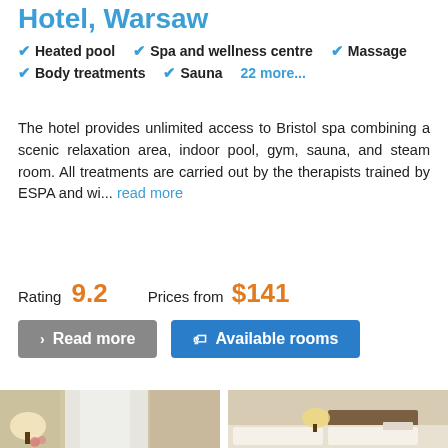Hotel, Warsaw
Heated pool
Spa and wellness centre
Massage
Body treatments
Sauna
22 more...
The hotel provides unlimited access to Bristol spa combining a scenic relaxation area, indoor pool, gym, sauna, and steam room. All treatments are carried out by the therapists trained by ESPA and wi... read more
Rating 9.2   Prices from $141
Read more   Available rooms
[Figure (photo): Two hotel room photos side by side: left shows a bright room with lamp and curtains, right shows a bedroom with lamp and headboard]